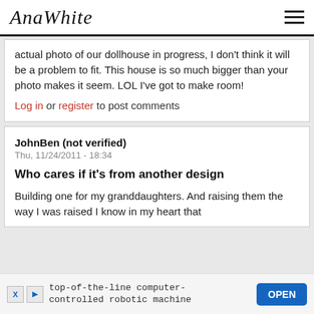AnaWhite
actual photo of our dollhouse in progress, I don't think it will be a problem to fit. This house is so much bigger than your photo makes it seem. LOL I've got to make room!
Log in or register to post comments
JohnBen (not verified)
Thu, 11/24/2011 - 18:34
Who cares if it's from another design
Building one for my granddaughters. And raising them the way I was raised I know in my heart that this... later...
top-of-the-line computer-controlled robotic machine OPEN